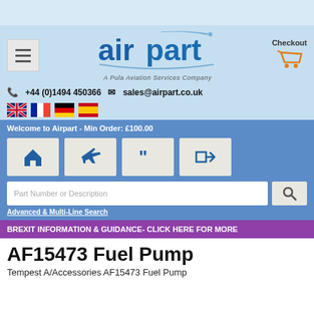[Figure (logo): Airpart logo - A Pula Aviation Services Company, with menu button and checkout cart]
+44 (0)1494 450366   sales@airpart.co.uk
[Figure (illustration): Country flag icons: UK, France, Germany, Spain]
Welcome to Airpart - Min Order: £100.00
[Figure (infographic): Navigation icon buttons: home, airplane, quote, login]
Part Number or Description
Advanced & Multi-Line Search
BREXIT INFORMATION & GUIDANCE- CLICK HERE FOR MORE
AF15473 Fuel Pump
Tempest A/Accessories AF15473 Fuel Pump